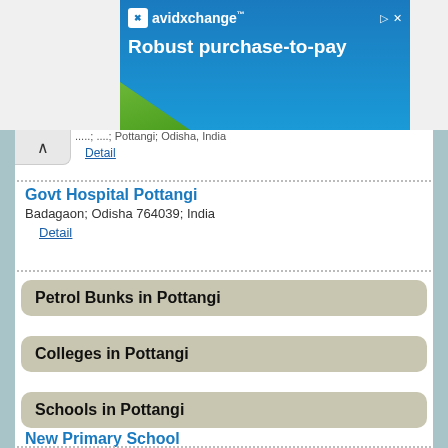[Figure (screenshot): AvidXchange advertisement banner with blue background, logo, and text 'Robust purchase-to-pay']
Detail
Govt Hospital Pottangi
Badagaon; Odisha 764039; India
Detail
Petrol Bunks in Pottangi
Colleges in Pottangi
Schools in Pottangi
New Primary School
Sunki; Potangi; Koraput; NH-43; Jeypore Vizianagaram Road; Koraput; Koraput; Odisha 764039; India
Detail